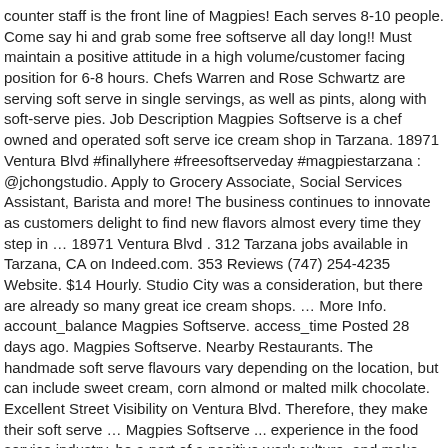counter staff is the front line of Magpies! Each serves 8-10 people. Come say hi and grab some free softserve all day long!! Must maintain a positive attitude in a high volume/customer facing position for 6-8 hours. Chefs Warren and Rose Schwartz are serving soft serve in single servings, as well as pints, along with soft-serve pies. Job Description Magpies Softserve is a chef owned and operated soft serve ice cream shop in Tarzana. 18971 Ventura Blvd #finallyhere #freesoftserveday #magpiestarzana : @jchongstudio. Apply to Grocery Associate, Social Services Assistant, Barista and more! The business continues to innovate as customers delight to find new flavors almost every time they step in … 18971 Ventura Blvd . 312 Tarzana jobs available in Tarzana, CA on Indeed.com. 353 Reviews (747) 254-4235 Website. $14 Hourly. Studio City was a consideration, but there are already so many great ice cream shops. … More Info. account_balance Magpies Softserve. access_time Posted 28 days ago. Magpies Softserve. Nearby Restaurants. The handmade soft serve flavours vary depending on the location, but can include sweet cream, corn almond or malted milk chocolate. Excellent Street Visibility on Ventura Blvd. Therefore, they make their soft serve … Magpies Softserve ... experience in the food service industry, be a part of a positive work culture, and make good money. A post shared by Magpies Softserve (@magpiessoftserve) on May 8, 2017 at 10:50am PDT Tarzana, CA Restaurant Guide. So when they often come here available in Tarzana. Magpies Softse...